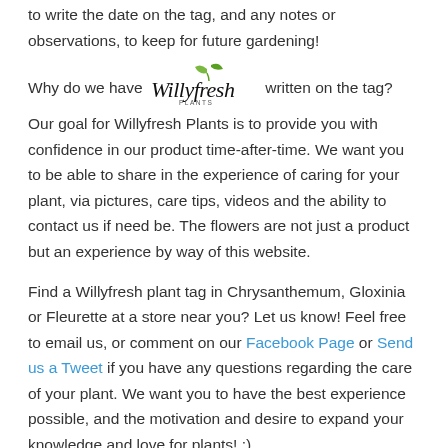to write the date on the tag, and any notes or observations, to keep for future gardening!
Why do we have Willyfresh written on the tag? Our goal for Willyfresh Plants is to provide you with confidence in our product time-after-time. We want you to be able to share in the experience of caring for your plant, via pictures, care tips, videos and the ability to contact us if need be. The flowers are not just a product but an experience by way of this website.
Find a Willyfresh plant tag in Chrysanthemum, Gloxinia or Fleurette at a store near you? Let us know! Feel free to email us, or comment on our Facebook Page or Send us a Tweet if you have any questions regarding the care of your plant. We want you to have the best experience possible, and the motivation and desire to expand your knowledge and love for plants! :)